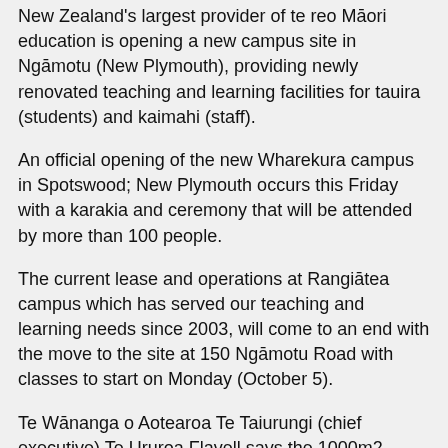New Zealand's largest provider of te reo Māori education is opening a new campus site in Ngāmotu (New Plymouth), providing newly renovated teaching and learning facilities for tauira (students) and kaimahi (staff).
An official opening of the new Wharekura campus in Spotswood; New Plymouth occurs this Friday with a karakia and ceremony that will be attended by more than 100 people.
The current lease and operations at Rangiātea campus which has served our teaching and learning needs since 2003, will come to an end with the move to the site at 150 Ngāmotu Road with classes to start on Monday (October 5).
Te Wānanga o Aotearoa Te Taiurungi (chief executive) Te Ururoa Flavell says the 1000m2 campus offers an enhanced experience, learning and working environment for both its tauira and kaimahi.